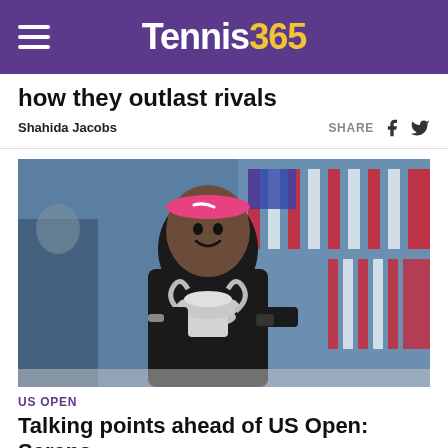Tennis365
how they outlast rivals
Shahida Jacobs
[Figure (photo): Serena Williams hugging the US Open trophy, wearing a pink headband and black outfit, with American flags in the background]
US OPEN
Talking points ahead of US Open: Serena